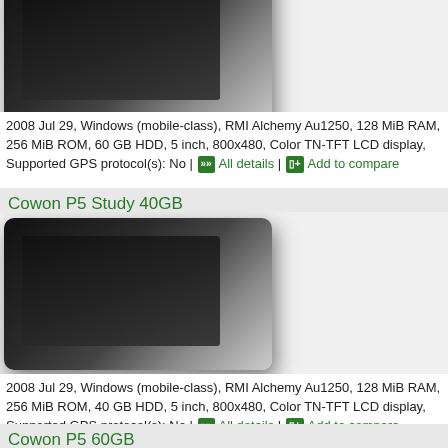[Figure (photo): Cowon P5 60GB device photo (top portion), black tablet/media player at angle]
2008 Jul 29, Windows (mobile-class), RMI Alchemy Au1250, 128 MiB RAM, 256 MiB ROM, 60 GB HDD, 5 inch, 800x480, Color TN-TFT LCD display, Supported GPS protocol(s): No | All details | Add to compare
Cowon P5 Study 40GB
[Figure (photo): Cowon P5 Study 40GB device photo, black tablet/media player at angle]
2008 Jul 29, Windows (mobile-class), RMI Alchemy Au1250, 128 MiB RAM, 256 MiB ROM, 40 GB HDD, 5 inch, 800x480, Color TN-TFT LCD display, Supported GPS protocol(s): No | All details | Add to compare
Cowon P5 60GB